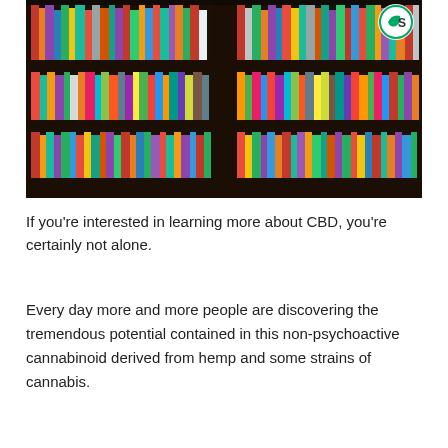[Figure (photo): Photograph of two wooden bookshelves packed with many colorful books of various sizes and colors. A circular logo with 'CS' letters appears in the top-right corner of the image.]
If you're interested in learning more about CBD, you're certainly not alone.
Every day more and more people are discovering the tremendous potential contained in this non-psychoactive cannabinoid derived from hemp and some strains of cannabis.